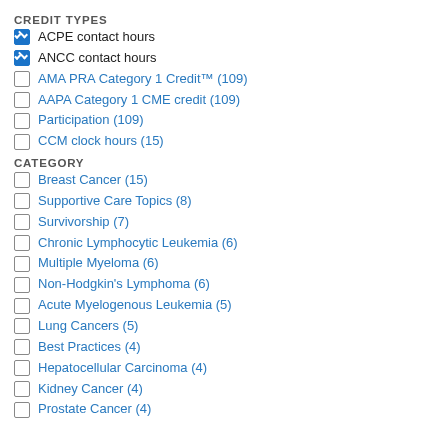CREDIT TYPES
ACPE contact hours (checked)
ANCC contact hours (checked)
AMA PRA Category 1 Credit™ (109)
AAPA Category 1 CME credit (109)
Participation (109)
CCM clock hours (15)
CATEGORY
Breast Cancer (15)
Supportive Care Topics (8)
Survivorship (7)
Chronic Lymphocytic Leukemia (6)
Multiple Myeloma (6)
Non-Hodgkin's Lymphoma (6)
Acute Myelogenous Leukemia (5)
Lung Cancers (5)
Best Practices (4)
Hepatocellular Carcinoma (4)
Kidney Cancer (4)
Prostate Cancer (4)